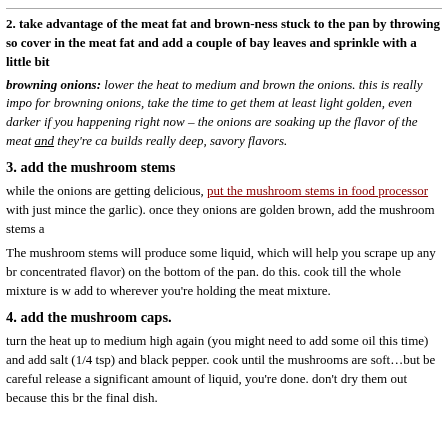2. take advantage of the meat fat and brown-ness stuck to the pan by throwing so cover in the meat fat and add a couple of bay leaves and sprinkle with a little bit
browning onions: lower the heat to medium and brown the onions. this is really impo for browning onions, take the time to get them at least light golden, even darker if you happening right now – the onions are soaking up the flavor of the meat and they're ca builds really deep, savory flavors.
3. add the mushroom stems
while the onions are getting delicious, put the mushroom stems in food processor with just mince the garlic). once they onions are golden brown, add the mushroom stems a
The mushroom stems will produce some liquid, which will help you scrape up any br concentrated flavor) on the bottom of the pan. do this. cook till the whole mixture is w add to wherever you're holding the meat mixture.
4. add the mushroom caps.
turn the heat up to medium high again (you might need to add some oil this time) and add salt (1/4 tsp) and black pepper. cook until the mushrooms are soft…but be careful release a significant amount of liquid, you're done. don't dry them out because this br the final dish.